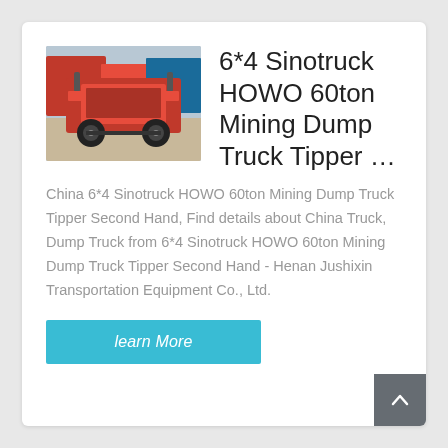[Figure (photo): Photo of a red Sinotruck HOWO dump truck, rear/side view, outdoors with trucks and containers in background]
6*4 Sinotruck HOWO 60ton Mining Dump Truck Tipper …
China 6*4 Sinotruck HOWO 60ton Mining Dump Truck Tipper Second Hand, Find details about China Truck, Dump Truck from 6*4 Sinotruck HOWO 60ton Mining Dump Truck Tipper Second Hand - Henan Jushixin Transportation Equipment Co., Ltd.
learn More